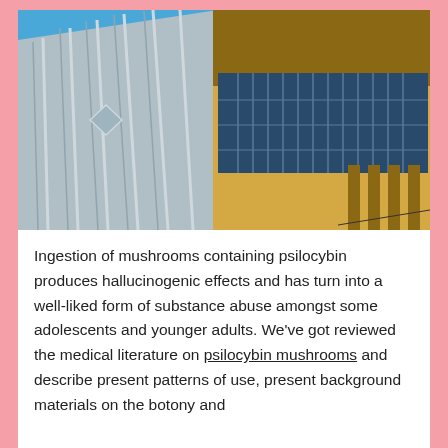[Figure (photo): Exterior photo of a modern building with metal panel cladding on the left side featuring diamond decorative elements, and a large multi-pane window facade on the right side with yellow/tan lower walls and brown trim, photographed from a low angle against a clear blue sky.]
Ingestion of mushrooms containing psilocybin produces hallucinogenic effects and has turn into a well-liked form of substance abuse amongst some adolescents and younger adults. We've got reviewed the medical literature on psilocybin mushrooms and describe present patterns of use, present background materials on the botony and